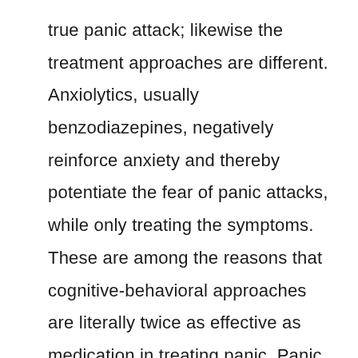true panic attack; likewise the treatment approaches are different. Anxiolytics, usually benzodiazepines, negatively reinforce anxiety and thereby potentiate the fear of panic attacks, while only treating the symptoms. These are among the reasons that cognitive-behavioral approaches are literally twice as effective as medication in treating panic. Panic attacks are common amongst people who have phobias,